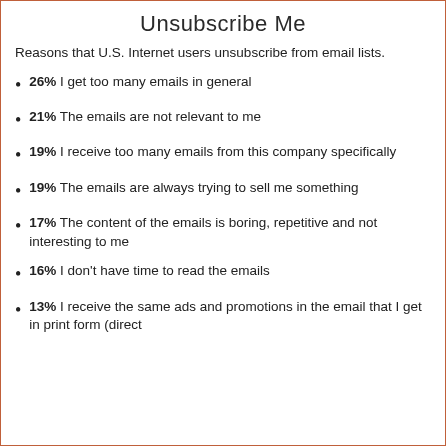Unsubscribe Me
Reasons that U.S. Internet users unsubscribe from email lists.
26% I get too many emails in general
21% The emails are not relevant to me
19% I receive too many emails from this company specifically
19% The emails are always trying to sell me something
17% The content of the emails is boring, repetitive and not interesting to me
16% I don't have time to read the emails
13% I receive the same ads and promotions in the email that I get in print form (direct